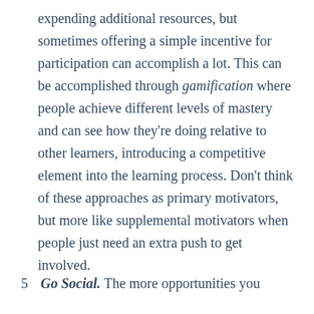expending additional resources, but sometimes offering a simple incentive for participation can accomplish a lot. This can be accomplished through gamification where people achieve different levels of mastery and can see how they're doing relative to other learners, introducing a competitive element into the learning process. Don't think of these approaches as primary motivators, but more like supplemental motivators when people just need an extra push to get involved.
5. Go Social. The more opportunities you